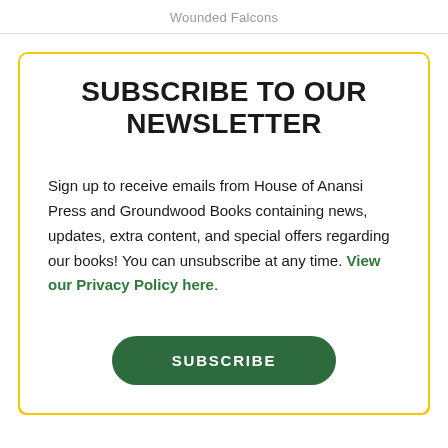Wounded Falcons
SUBSCRIBE TO OUR NEWSLETTER
Sign up to receive emails from House of Anansi Press and Groundwood Books containing news, updates, extra content, and special offers regarding our books! You can unsubscribe at any time. View our Privacy Policy here.
SUBSCRIBE